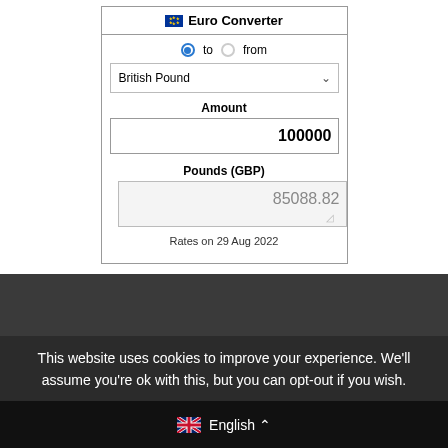Euro Converter
to  from
British Pound
Amount
100000
Pounds (GBP)
85088.82
Rates on 29 Aug 2022
This website uses cookies to improve your experience. We'll assume you're ok with this, but you can opt-out if you wish.
English ^